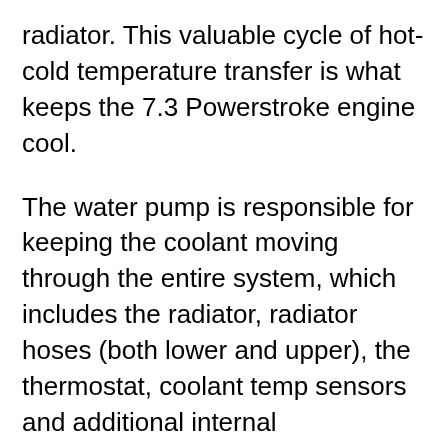radiator. This valuable cycle of hot-cold temperature transfer is what keeps the 7.3 Powerstroke engine cool.
The water pump is responsible for keeping the coolant moving through the entire system, which includes the radiator, radiator hoses (both lower and upper), the thermostat, coolant temp sensors and additional internal components. If the water pump starts to leak or fail, excessive heat begins to build up.
Left unchecked, this will cause permanent engine damage, leading to costly repairs down the road.